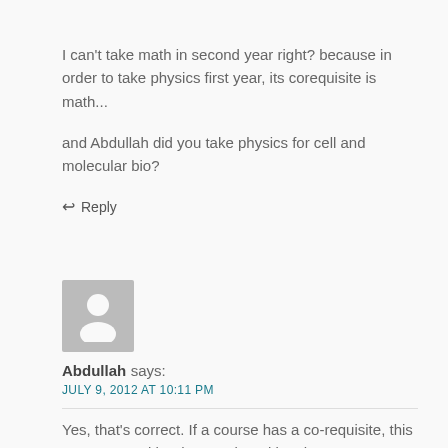I can't take math in second year right? because in order to take physics first year, its corequisite is math...
and Abdullah did you take physics for cell and molecular bio?
↩ Reply
[Figure (illustration): Gray default user avatar placeholder image with silhouette of a person]
Abdullah says:
JULY 9, 2012 AT 10:11 PM
Yes, that's correct. If a course has a co-requisite, this means you either have to be taking the prereq course